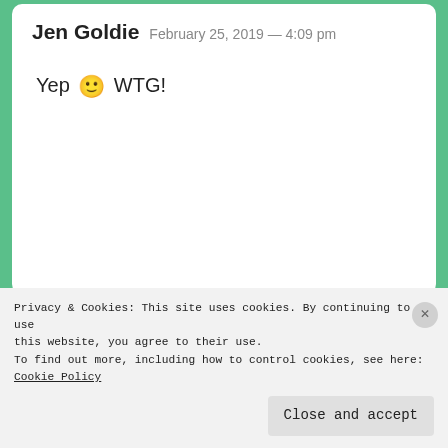Jen Goldie  February 25, 2019 — 4:09 pm

Yep 🙂 WTG!
Cubby  February 25, 2019 — 4:14 pm

Phew! You are very thorough in your followup. 😜
Privacy & Cookies: This site uses cookies. By continuing to use this website, you agree to their use.
To find out more, including how to control cookies, see here:
Cookie Policy

Close and accept